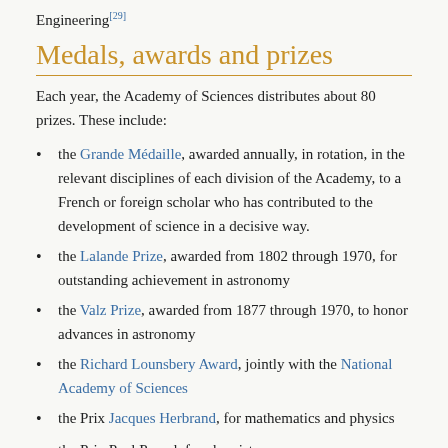Engineering[29]
Medals, awards and prizes
Each year, the Academy of Sciences distributes about 80 prizes. These include:
the Grande Médaille, awarded annually, in rotation, in the relevant disciplines of each division of the Academy, to a French or foreign scholar who has contributed to the development of science in a decisive way.
the Lalande Prize, awarded from 1802 through 1970, for outstanding achievement in astronomy
the Valz Prize, awarded from 1877 through 1970, to honor advances in astronomy
the Richard Lounsbery Award, jointly with the National Academy of Sciences
the Prix Jacques Herbrand, for mathematics and physics
the Prix Paul Pascal, for chemistry